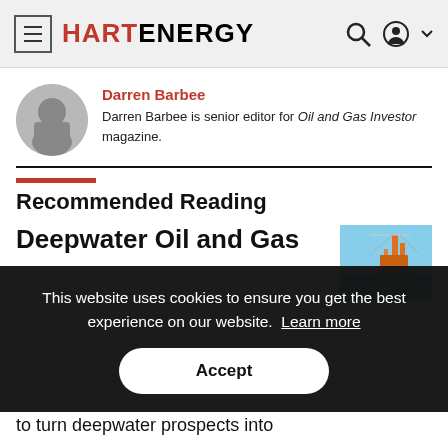HART ENERGY
Darren Barbee
Darren Barbee is senior editor for Oil and Gas Investor magazine.
Recommended Reading
Deepwater Oil and Gas
[Figure (photo): Offshore oil platform against blue sky and sea]
This website uses cookies to ensure you get the best experience on our website. Learn more
Accept
to turn deepwater prospects into